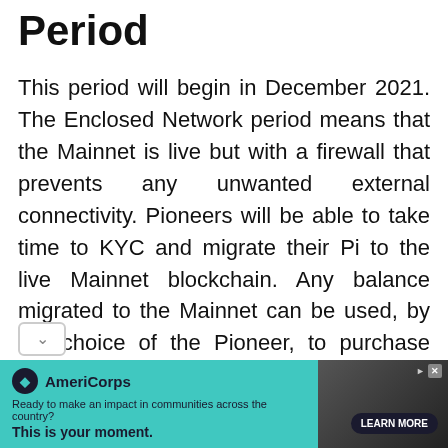Period
This period will begin in December 2021. The Enclosed Network period means that the Mainnet is live but with a firewall that prevents any unwanted external connectivity. Pioneers will be able to take time to KYC and migrate their Pi to the live Mainnet blockchain. Any balance migrated to the Mainnet can be used, by the choice of the Pioneer, to purchase goods and services in Pi apps, transfer to other
[Figure (other): AmeriCorps advertisement banner with teal background. Logo with dark circle icon, text 'AmeriCorps', tagline 'Ready to make an impact in communities across the country?', bold text 'This is your moment.' with a 'LEARN MORE' button. Right side shows a partial photo of a person.]